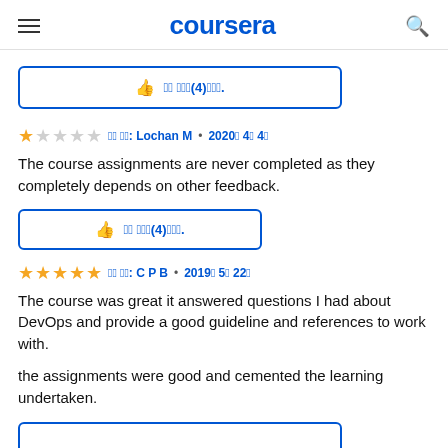coursera
이 리뷰 (4)명이었다.
★☆☆☆☆  작성자: Lochan M • 2020년 4월 4일
The course assignments are never completed as they completely depends on other feedback.
이 리뷰 (4)명이었다.
★★★★★  작성자: C P B • 2019년 5월 22일
The course was great it answered questions I had about DevOps and provide a good guideline and references to work with.

the assignments were good and cemented the learning undertaken.
이 리뷰